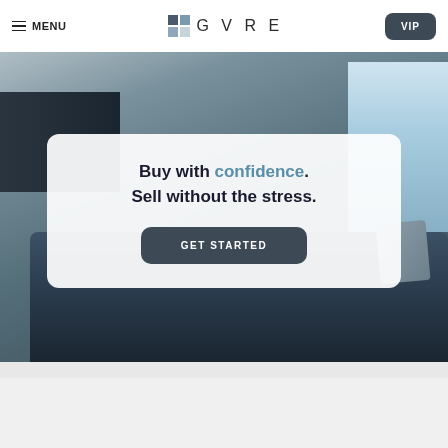MENU | GVRE | VIP
[Figure (photo): Interior living room photo with dark sofa, TV, and window view of mountains/sea, used as hero background image]
Buy with confidence. Sell without the stress.
GET STARTED